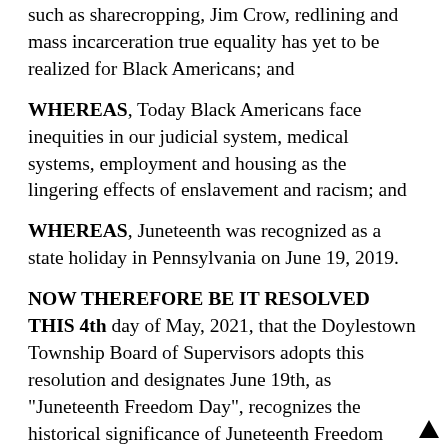such as sharecropping, Jim Crow, redlining and mass incarceration true equality has yet to be realized for Black Americans; and
WHEREAS, Today Black Americans face inequities in our judicial system, medical systems, employment and housing as the lingering effects of enslavement and racism; and
WHEREAS, Juneteenth was recognized as a state holiday in Pennsylvania on June 19, 2019.
NOW THEREFORE BE IT RESOLVED THIS 4th day of May, 2021, that the Doylestown Township Board of Supervisors adopts this resolution and designates June 19th, as "Juneteenth Freedom Day", recognizes the historical significance of Juneteenth Freedom Day to Doylestown